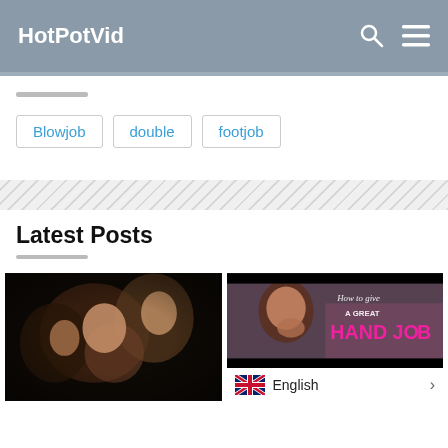HotPotVid
Blowjob
double
footjob
Latest Posts
[Figure (photo): Video thumbnail showing people in close proximity, dark scene]
[Figure (photo): Video thumbnail with woman and text: How to give A GREAT HAND JOB, with English language selector overlay]